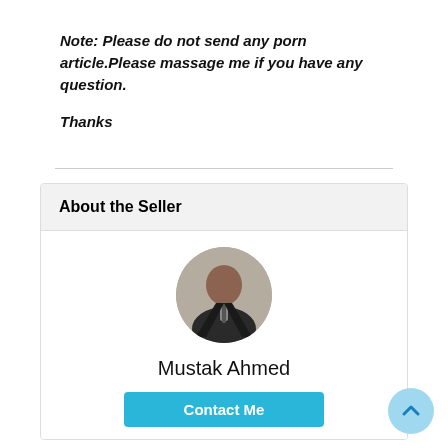Note: Please do not send any porn article.Please massage me if you have any question.

Thanks
About the Seller
[Figure (photo): Circular profile photo of a man in a dark suit and tie]
Mustak Ahmed
Contact Me